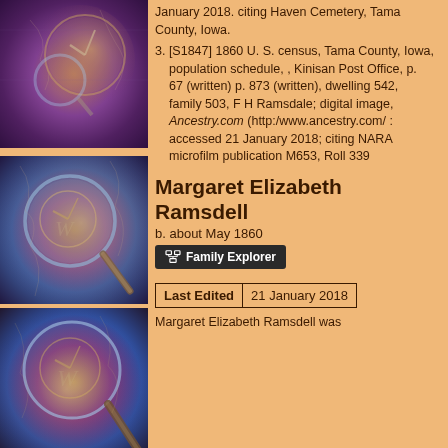[Figure (illustration): Decorative image with clock face, aged texture, purple and orange tones]
January 2018. citing Haven Cemetery, Tama County, Iowa.
[Figure (illustration): Decorative image with large magnifying glass over clock face, purple and blue tones]
3. [S1847] 1860 U. S. census, Tama County, Iowa, population schedule, , Kinisan Post Office, p. 67 (written) p. 873 (written), dwelling 542, family 503, F H Ramsdale; digital image, Ancestry.com (http:/www.ancestry.com/ : accessed 21 January 2018; citing NARA microfilm publication M653, Roll 339
Margaret Elizabeth Ramsdell
b. about May 1860
Family Explorer
| Last Edited | 21 January 2018 |
| --- | --- |
[Figure (illustration): Decorative image with magnifying glass over clock, purple, orange and blue tones]
Margaret Elizabeth Ramsdell was